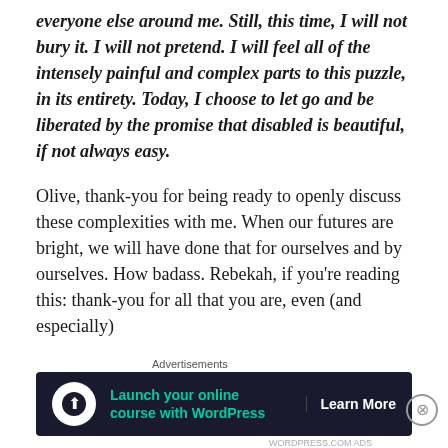everyone else around me. Still, this time, I will not bury it. I will not pretend. I will feel all of the intensely painful and complex parts to this puzzle, in its entirety. Today, I choose to let go and be liberated by the promise that disabled is beautiful, if not always easy.
Olive, thank-you for being ready to openly discuss these complexities with me. When our futures are bright, we will have done that for ourselves and by ourselves. How badass. Rebekah, if you're reading this: thank-you for all that you are, even (and especially)
Advertisements
[Figure (infographic): Advertisement banner: dark background with circular white icon showing a person/tree symbol, teal text reading 'Launch your online course with WordPress', and white bold text 'Learn More' separated by a vertical line.]